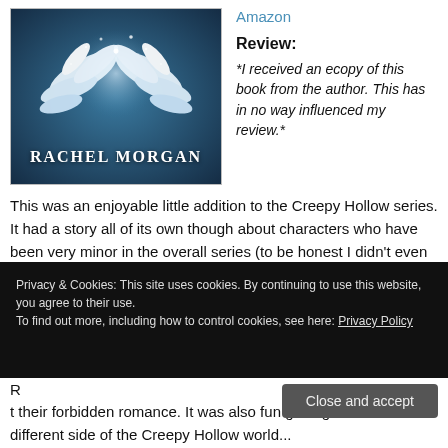[Figure (illustration): Book cover with white feathered wings on a blue background, author name RACHEL MORGAN at the bottom]
Amazon
Review:
*I received an ecopy of this book from the author. This has in no way influenced my review.*
This was an enjoyable little addition to the Creepy Hollow series. It had a story all of its own though about characters who have been very minor in the overall series (to be honest I didn't even remember who Raven was), so you don't need to have read the rest of the series to enjoy this. The only thing that might be a problem is understanding the world and some of the magic, like the Faerie Paths t... a...
R... t... their forbidden romance. It was also fun getting to see a different side of the Creepy Hollow world...
Privacy & Cookies: This site uses cookies. By continuing to use this website, you agree to their use.
To find out more, including how to control cookies, see here: Privacy Policy
Close and accept